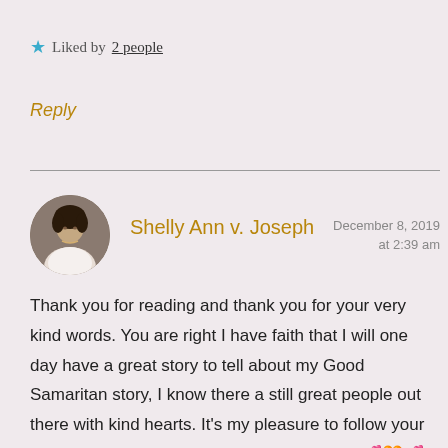★ Liked by 2 people
Reply
Shelly Ann v. Joseph — December 8, 2019 at 2:39 am
Thank you for reading and thank you for your very kind words. You are right I have faith that I will one day have a great story to tell about my Good Samaritan story, I know there a still great people out there with kind hearts. It's my pleasure to follow your blog and I look forward to reading your work 💕🧡💕💕